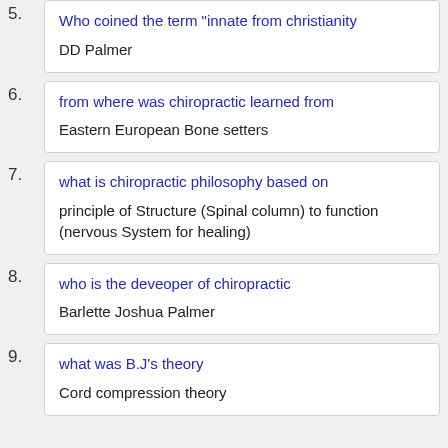5. Who coined the term "innate from christianity"
DD Palmer
6. from where was chiropractic learned from
Eastern European Bone setters
7. what is chiropractic philosophy based on
principle of Structure (Spinal column) to function (nervous System for healing)
8. who is the deveoper of chiropractic
Barlette Joshua Palmer
9. what was B.J's theory
Cord compression theory